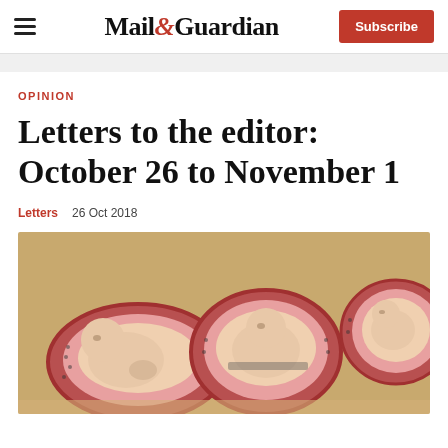Mail&Guardian — Subscribe
OPINION
Letters to the editor: October 26 to November 1
Letters   26 Oct 2018
[Figure (photo): Three anatomical models of fetuses in cross-sectional uteri arranged side by side on a light background.]